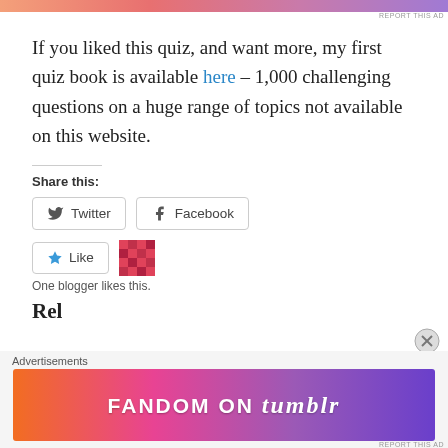[Figure (other): Top advertisement banner with gradient pink/salmon color]
If you liked this quiz, and want more, my first quiz book is available here – 1,000 challenging questions on a huge range of topics not available on this website.
Share this:
[Figure (other): Twitter and Facebook share buttons]
[Figure (other): Like button and user avatar mosaic, One blogger likes this.]
One blogger likes this.
Rel
Advertisements
[Figure (other): Fandom on Tumblr advertisement banner with colorful gradient]